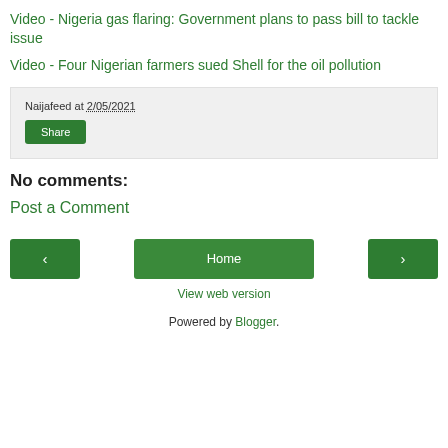Video - Nigeria gas flaring: Government plans to pass bill to tackle issue
Video - Four Nigerian farmers sued Shell for the oil pollution
Naijafeed at 2/05/2021
Share
No comments:
Post a Comment
‹ Home › View web version
Powered by Blogger.